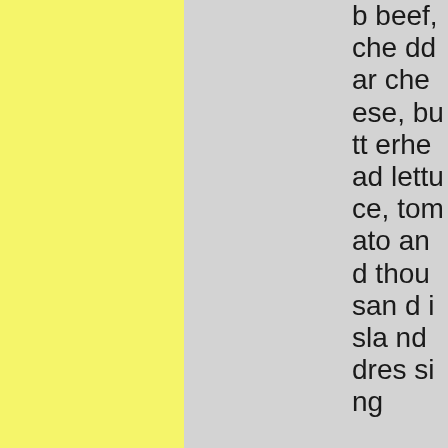b beef, cheddar cheese, butterhead lettuce, tomato and thousand island dressing